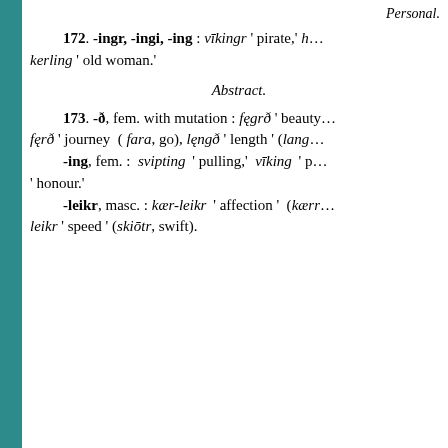Personal.
172. -ingr, -ingi, -ing: vīkingr 'pirate,' h… kerling 'old woman.'
Abstract.
173. -ð, fem. with mutation: fegrð 'beauty… ferð 'journey (fara, go), lengð 'length' (lang…
-ing, fem.: svipting 'pulling,' vīking 'p… 'honour.'
-leikr, masc.: kær-leikr 'affection' (kærr… leikr 'speed' (skiōtr, swift).